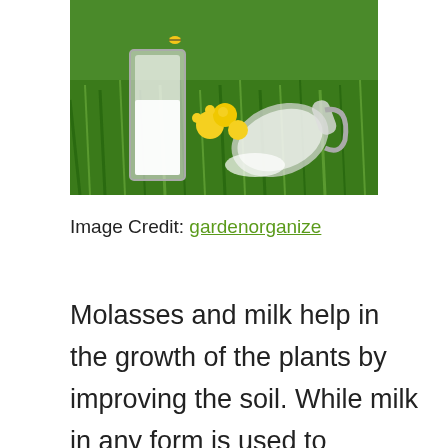[Figure (photo): Two glass milk containers sitting in green grass with yellow dandelion flowers, with a tipped-over glass jug on the right.]
Image Credit: gardenorganize
Molasses and milk help in the growth of the plants by improving the soil. While milk in any form is used to improve the soil, molasses are used only to power up the effect of milk on soil. For disclaimer with